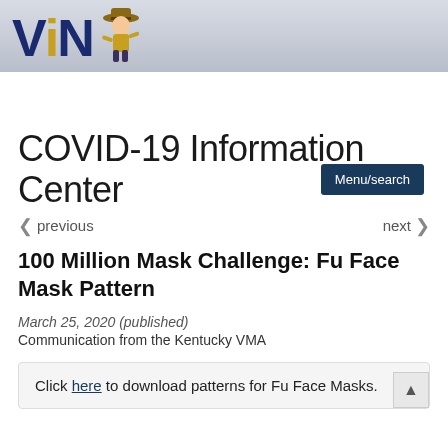[Figure (logo): VIN logo with gold and navy blue letters and a small cowboy mascot figure on a grey gradient banner]
Menu/search
COVID-19 Information Center
< previous    next >
100 Million Mask Challenge: Fu Face Mask Pattern
March 25, 2020 (published)
Communication from the Kentucky VMA
Click here to download patterns for Fu Face Masks.